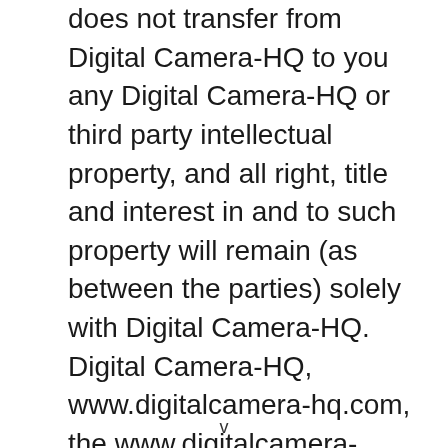does not transfer from Digital Camera-HQ to you any Digital Camera-HQ or third party intellectual property, and all right, title and interest in and to such property will remain (as between the parties) solely with Digital Camera-HQ. Digital Camera-HQ, www.digitalcamera-hq.com, the www.digitalcamera-hq.com logo, and all other trademarks, service marks, graphics and logos used in connection
v